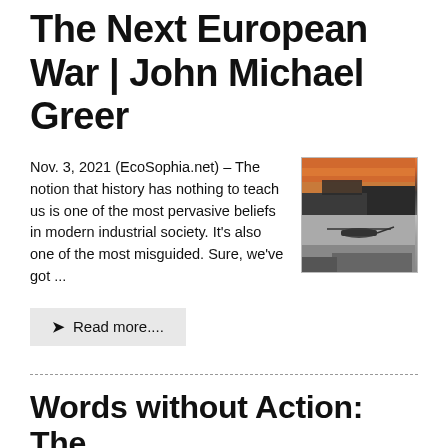The Next European War | John Michael Greer
Nov. 3, 2021 (EcoSophia.net) – The notion that history has nothing to teach us is one of the most pervasive beliefs in modern industrial society. It's also one of the most misguided. Sure, we've got ...
[Figure (photo): Two stacked photos: top shows a building silhouette against an orange/red sunset sky; bottom shows a helicopter silhouetted above a building against a grey sky]
Read more....
Words without Action: The